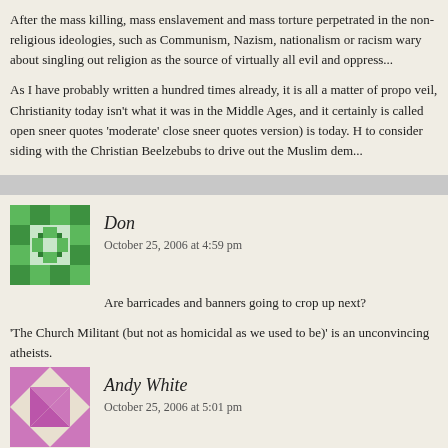After the mass killing, mass enslavement and mass torture perpetrated in the non-religious ideologies, such as Communism, Nazism, nationalism or racism wary about singling out religion as the source of virtually all evil and oppress...
As I have probably written a hundred times already, it is all a matter of propo veil, Christianity today isn't what it was in the Middle Ages, and it certainly is called open sneer quotes ‘moderate’ close sneer quotes version) is today. H to consider siding with the Christian Beelzebubs to drive out the Muslim dem...
Don
October 25, 2006 at 4:59 pm
Are barricades and banners going to crop up next?
‘The Church Militant (but not as homicidal as we used to be)’ is an unconvincing atheists.
Andy White
October 25, 2006 at 5:01 pm
“Humanists would be well advised to consider siding with the Chr... the Muslim demons.”